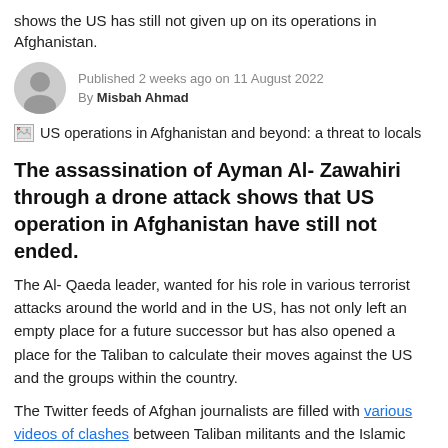shows the US has still not given up on its operations in Afghanistan.
Published 2 weeks ago on 11 August 2022
By Misbah Ahmad
[Figure (other): Broken image placeholder with caption: US operations in Afghanistan and beyond: a threat to locals]
The assassination of Ayman Al- Zawahiri through a drone attack shows that US operation in Afghanistan have still not ended.
The Al- Qaeda leader, wanted for his role in various terrorist attacks around the world and in the US, has not only left an empty place for a future successor but has also opened a place for the Taliban to calculate their moves against the US and the groups within the country.
The Twitter feeds of Afghan journalists are filled with various videos of clashes between Taliban militants and the Islamic States sympathizers of Khorasan Province